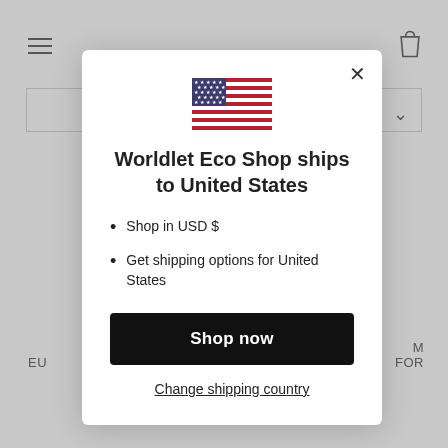[Figure (screenshot): Background of an e-commerce website with gray overlay, hamburger menu, shopping bag icon, and search bar]
Worldlet Eco Shop ships to United States
Shop in USD $
Get shipping options for United States
Shop now
Change shipping country